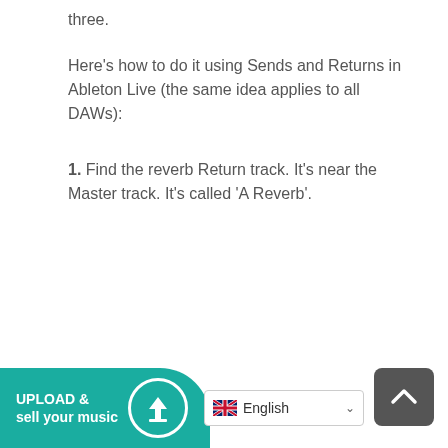three.
Here's how to do it using Sends and Returns in Ableton Live (the same idea applies to all DAWs):
1. Find the reverb Return track. It's near the Master track. It's called 'A Reverb'.
[Figure (other): Upload & sell your music banner with teal background and upload icon, plus a scroll-to-top button and English language selector]
English